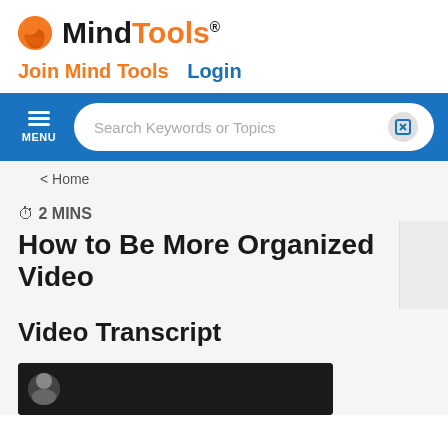[Figure (logo): MindTools logo with orange head icon and MindTools text]
Join Mind Tools  Login
MENU  Search Keywords or Topics
< Home
⏱ 2 MINS
How to Be More Organized Video
Video Transcript
[Figure (screenshot): Video thumbnail showing dark background with person]